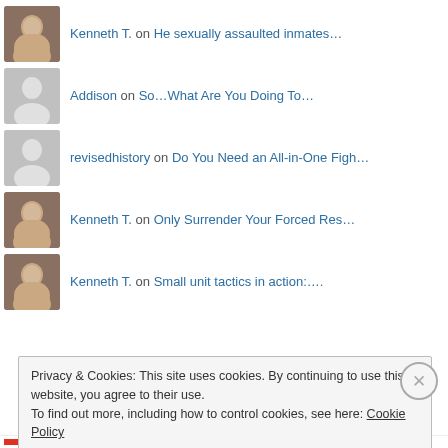Kenneth T. on He sexually assaulted inmates…
Addison on So…What Are You Doing To…
revisedhistory on Do You Need an All-in-One Figh…
Kenneth T. on Only Surrender Your Forced Res…
Kenneth T. on Small unit tactics in action:….
Privacy & Cookies: This site uses cookies. By continuing to use this website, you agree to their use.
To find out more, including how to control cookies, see here: Cookie Policy